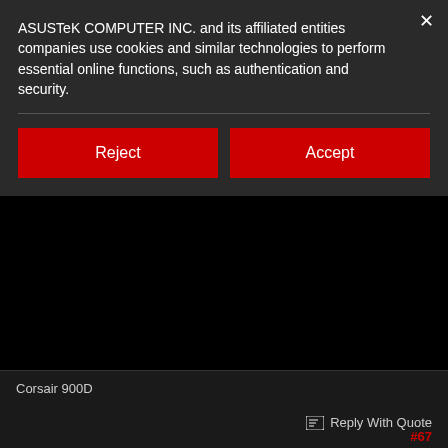ASUSTeK COMPUTER INC. and its affiliated entities companies use cookies and similar technologies to perform essential online functions, such as authentication and security.
Reject
Accept
Corsair 900D
Reply With Quote
#67